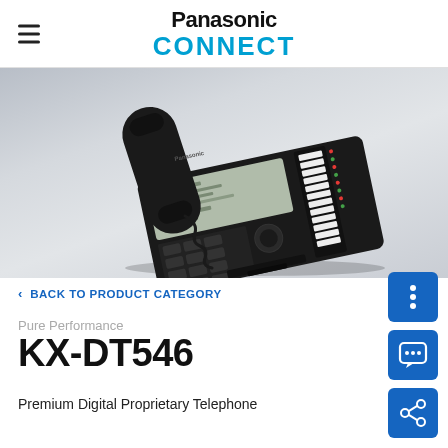Panasonic CONNECT
[Figure (photo): Black Panasonic KX-DT546 Premium Digital Proprietary Telephone shown at an angle on a light grey gradient background]
< BACK TO PRODUCT CATEGORY
Pure Performance
KX-DT546
Premium Digital Proprietary Telephone